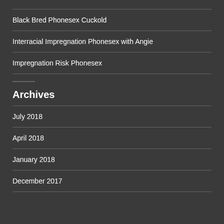Black Bred Phonesex Cuckold
Interracial Impregnation Phonesex with Angie
Impregnation Risk Phonesex
Archives
July 2018
April 2018
January 2018
December 2017